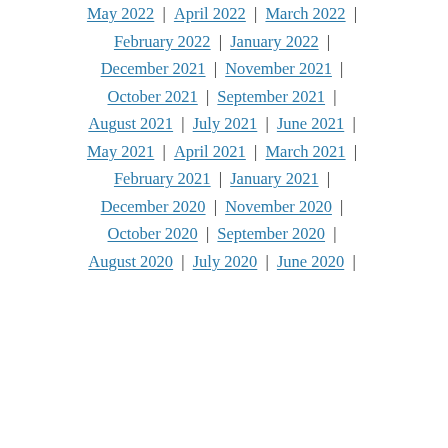May 2022 | April 2022 | March 2022 |
February 2022 | January 2022 |
December 2021 | November 2021 |
October 2021 | September 2021 |
August 2021 | July 2021 | June 2021 |
May 2021 | April 2021 | March 2021 |
February 2021 | January 2021 |
December 2020 | November 2020 |
October 2020 | September 2020 |
August 2020 | July 2020 | June 2020 |